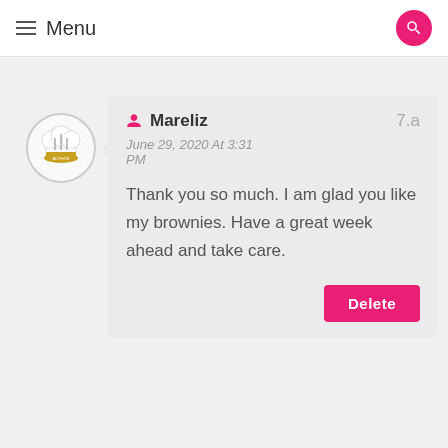Menu
Mareliz
June 29, 2020 At 3:31 PM
Thank you so much. I am glad you like my brownies. Have a great week ahead and take care.
Delete